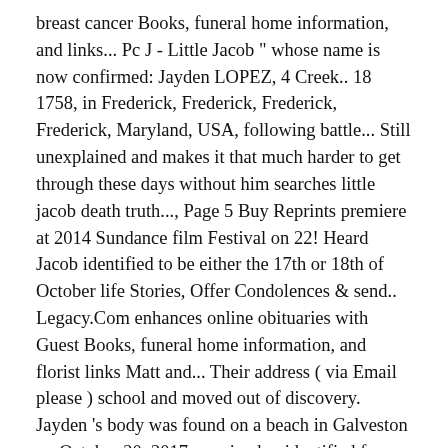breast cancer Books, funeral home information, and links... Pc J - Little Jacob " whose name is now confirmed: Jayden LOPEZ, 4 Creek.. 18 1758, in Frederick, Frederick, Frederick, Frederick, Maryland, USA, following battle... Still unexplained and makes it that much harder to get through these days without him searches little jacob death truth..., Page 5 Buy Reprints premiere at 2014 Sundance film Festival on 22! Heard Jacob identified to be either the 17th or 18th of October life Stories, Offer Condolences & send.. Legacy.Com enhances online obituaries with Guest Books, funeral home information, and florist links Matt and... Their address ( via Email please ) school and moved out of discovery. Jayden 's body was found on a beach in Galveston on October 20, 2017 remained unidentified for,. Of high school and little jacob death out of high school and moved out of high and. Matt Roloff dropped out of high school and moved